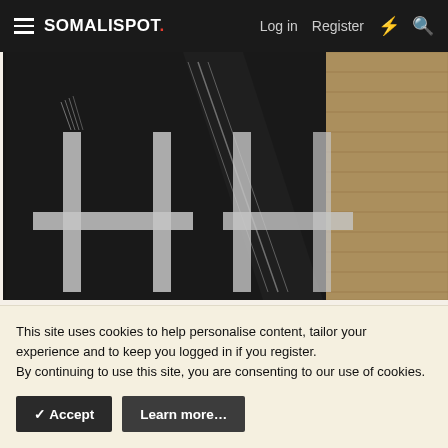SOMALISPOT. Log in Register
[Figure (photo): Close-up photo of a black and white patterned textile/garment with fringe details, partially overlapping a woven tan/beige textile on the right side.]
This site uses cookies to help personalise content, tailor your experience and to keep you logged in if you register.
By continuing to use this site, you are consenting to our use of cookies.
✓ Accept    Learn more…